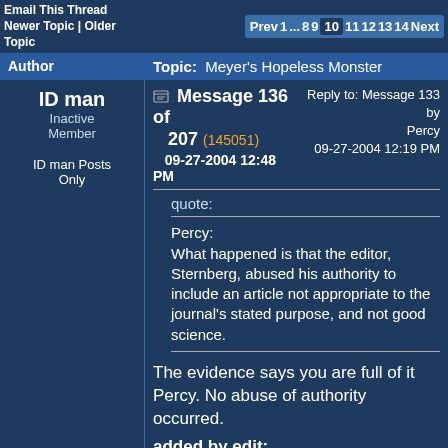Email This Thread | Newer Topic | Older Topic | Prev 1 ... 8 9 10 11 12 13 14 Next
| Author | Topic: Meyer's Hopeless Monster |
| --- | --- |
ID man
Inactive Member
ID man Posts Only
Message 136 of 207 (145051)
09-27-2004 12:48 PM
Reply to: Message 133 by Percy
09-27-2004 12:19 PM
quote:
Percy:
What happened is that the editor, Sternberg, abused his authority to include an article not appropriate to the journal's stated purpose, and not good science.
The evidence says you are full of it Percy. No abuse of authority occurred.
added by edit:
quote: